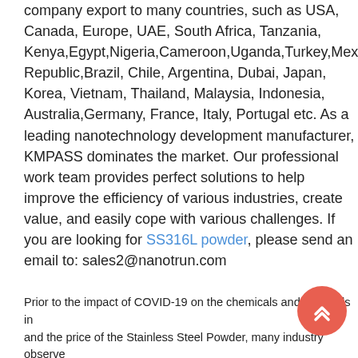company export to many countries, such as USA, Canada, Europe, UAE, South Africa, Tanzania, Kenya,Egypt,Nigeria,Cameroon,Uganda,Turkey,Mexico,Azerbaijan Republic,Brazil, Chile, Argentina, Dubai, Japan, Korea, Vietnam, Thailand, Malaysia, Indonesia, Australia,Germany, France, Italy, Portugal etc. As a leading nanotechnology development manufacturer, KMPASS dominates the market. Our professional work team provides perfect solutions to help improve the efficiency of various industries, create value, and easily cope with various challenges. If you are looking for SS316L powder, please send an email to: sales2@nanotrun.com
Prior to the impact of COVID-19 on the chemicals and materials industry and the price of the Stainless Steel Powder, many industry observers expected low to flat growth in 2021 in all regions outside Asia, with many